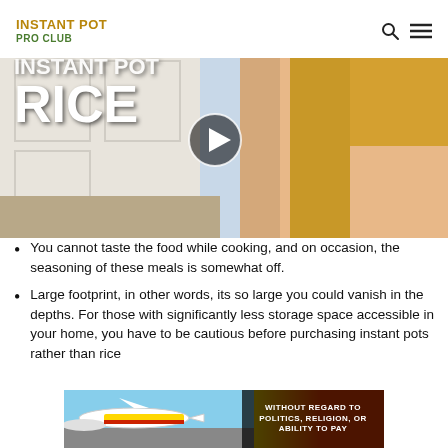INSTANT POT PRO CLUB
[Figure (screenshot): Video thumbnail showing a woman holding a blue bowl of rice with 'INSTANT POT RICE' text overlay and a play button circle in the center]
You cannot taste the food while cooking, and on occasion, the seasoning of these meals is somewhat off.
Large footprint, in other words, its so large you could vanish in the depths. For those with significantly less storage space accessible in your home, you have to be cautious before purchasing instant pots rather than rice
[Figure (photo): Advertisement banner showing cargo planes at an airport with text 'WITHOUT REGARD TO' overlaid on the right side]